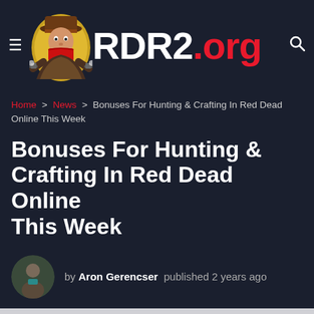[Figure (logo): RDR2.org website logo with cowboy mascot holding two guns, hamburger menu icon on left, search icon on right]
Home > News > Bonuses For Hunting & Crafting In Red Dead Online This Week
Bonuses For Hunting & Crafting In Red Dead Online This Week
by Aron Gerencser  published 2 years ago
Few are more in tune with the great outdoors than the crafters and hunters, eking out a living